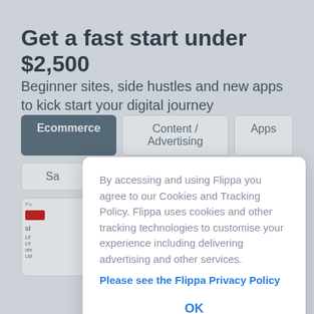Get a fast start under $2,500
Beginner sites, side hustles and new apps to kick start your digital journey
[Figure (screenshot): Website UI showing tab navigation with Ecommerce (active), Content / Advertising, and Apps tabs, with partial card and Sa filter below]
By accessing and using Flippa you agree to our Cookies and Tracking Policy. Flippa uses cookies and other tracking technologies to customise your experience including delivering advertising and other services.
Please see the Flippa Privacy Policy
OK